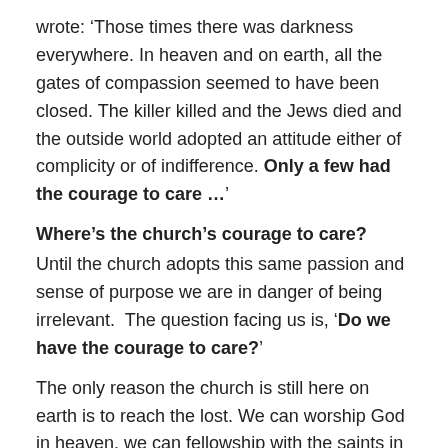wrote: ‘Those times there was darkness everywhere. In heaven and on earth, all the gates of compassion seemed to have been closed. The killer killed and the Jews died and the outside world adopted an attitude either of complicity or of indifference. Only a few had the courage to care …’
Where’s the church’s courage to care?
Until the church adopts this same passion and sense of purpose we are in danger of being irrelevant.  The question facing us is, ‘Do we have the courage to care?’
The only reason the church is still here on earth is to reach the lost. We can worship God in heaven, we can fellowship with the saints in heaven, but we cannot bring people to Christ in heaven. This is our only chance to bring closure to the great commission (Matthew 28: 18-20).